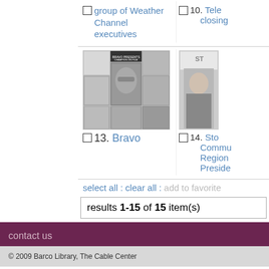9. group of Weather Channel executives
10. Tele... closing
[Figure (photo): Bravo presents Champion on Film - collage of black and white headshot photos]
[Figure (photo): Stone Communications Regional President - partial photo of man in suit]
13. Bravo
14. Sto... Commu... Region... Preside...
select all : clear all : add to favorite
results 1-15 of 15 item(s)
contact us
© 2009 Barco Library, The Cable Center